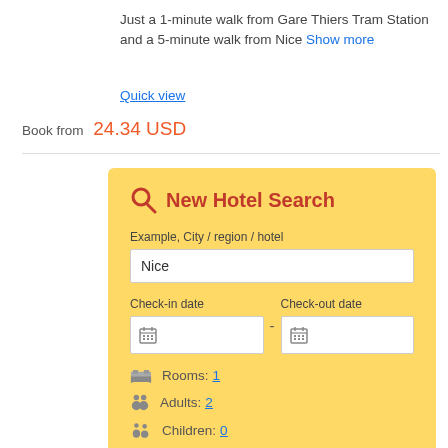Just a 1-minute walk from Gare Thiers Tram Station and a 5-minute walk from Nice Show more
Quick view
Book from 24.34 USD
[Figure (screenshot): Hotel search form with yellow background, search icon, title 'New Hotel Search', input fields for city/region/hotel (filled with 'Nice'), check-in and check-out date fields, rooms (1), adults (2), children (0), and an orange SEARCH button.]